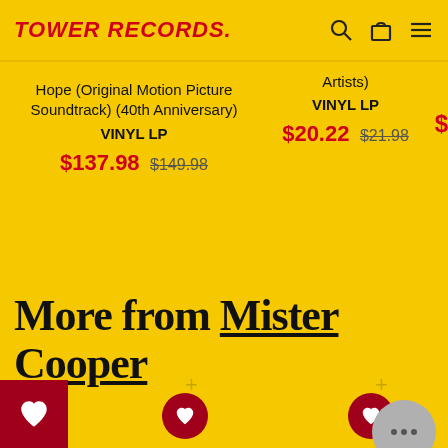TOWER RECORDS.
Hope (Original Motion Picture Soundtrack) (40th Anniversary)
VINYL LP
$137.98  $149.98
Artists)
VINYL LP
$20.22  $21.98
More from Mister Cooper